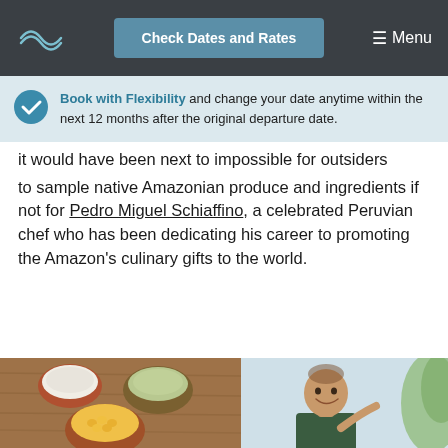Check Dates and Rates | Menu
Book with Flexibility and change your date anytime within the next 12 months after the original departure date.
it would have been next to impossible for outsiders to sample native Amazonian produce and ingredients if not for Pedro Miguel Schiaffino, a celebrated Peruvian chef who has been dedicating his career to promoting the Amazon's culinary gifts to the world.
[Figure (photo): Two images side by side: left shows bowls of Amazonian ingredients on a wooden surface; right shows a smiling man (Pedro Miguel Schiaffino) gesturing.]